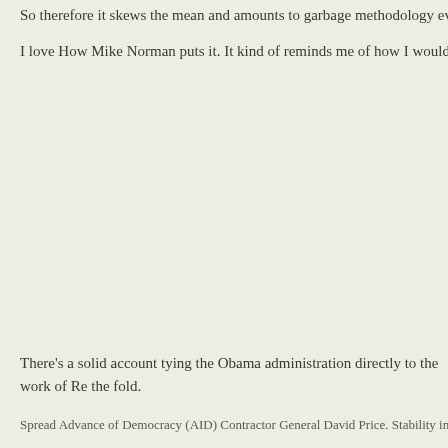So therefore it skews the mean and amounts to garbage methodology even if do
I love How Mike Norman puts it. It kind of reminds me of how I would say it; those
There's a solid account tying the Obama administration directly to the work of Re the fold.
Spread Advance of Democracy (AID) Contractor General David Price. Stability in M